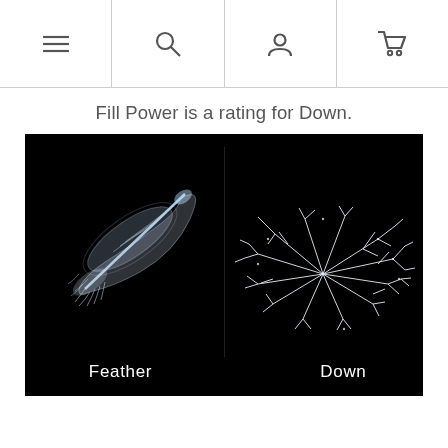[Navigation bar with menu, search, account, and cart icons]
Fill Power is a rating for Down.
[Figure (photo): Side-by-side comparison of a white feather (left) and a white down cluster (right) on a black background, with labels 'Feather' and 'Down' in white text at the bottom.]